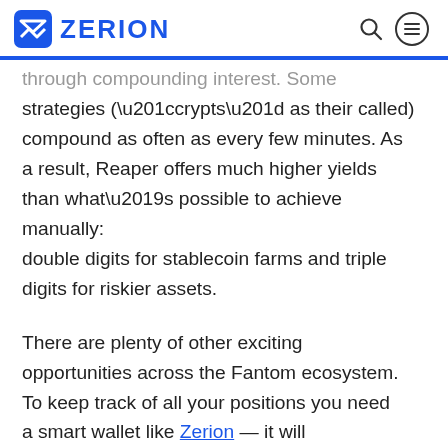ZERION
through compounding interest. Some strategies (“crypts” as their called) compound as often as every few minutes. As a result, Reaper offers much higher yields than what’s possible to achieve manually: double digits for stablecoin farms and triple digits for riskier assets.
There are plenty of other exciting opportunities across the Fantom ecosystem. To keep track of all your positions you need a smart wallet like Zerion — it will